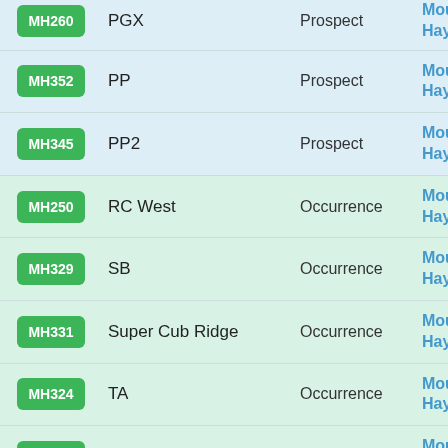| ID | Name | Type | Location |
| --- | --- | --- | --- |
| MH260 | PGX | Prospect | Mount Hayes |
| MH352 | PP | Prospect | Mount Hayes |
| MH345 | PP2 | Prospect | Mount Hayes |
| MH250 | RC West | Occurrence | Mount Hayes |
| MH329 | SB | Occurrence | Mount Hayes |
| MH331 | Super Cub Ridge | Occurrence | Mount Hayes |
| MH324 | TA | Occurrence | Mount Hayes |
| MH323 | Tiger Paw | Occurrence | Mount Hayes |
| MH337 | Trio East | Occurrence | Mount |